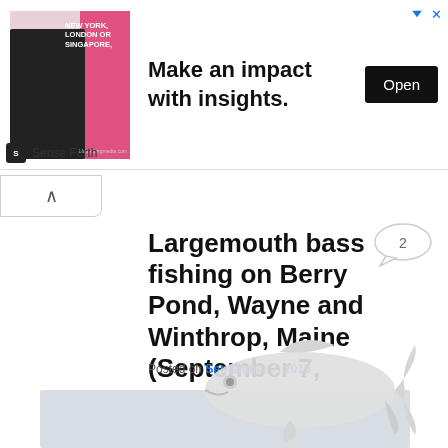[Figure (screenshot): Advertisement banner: man in suit next to text 'NEW YORK, LONDON OR SINGAPORE, Make an impact with insights.' with Open button and Sense Forth sponsor logo]
Largemouth bass fishing on Berry Pond, Wayne and Winthrop, Maine (September 7, 2015)
Posted on September 7, 2015
View Map
[Figure (photo): Partial image of a largemouth bass fish (white/grey coloring) overlapping a map placeholder below]